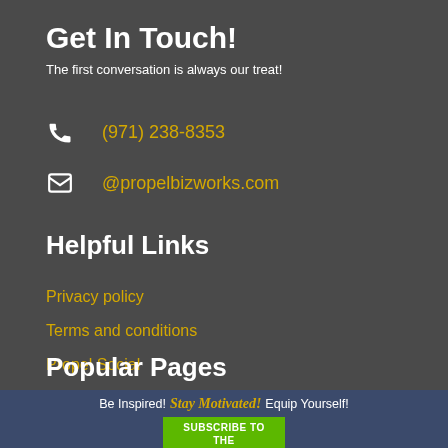Get In Touch!
The first conversation is always our treat!
(971) 238-8353
@propelbizworks.com
Helpful Links
Privacy policy
Terms and conditions
Propel Social
Popular Pages
Be Inspired!  Stay Motivated!  Equip Yourself!
SUBSCRIBE to the